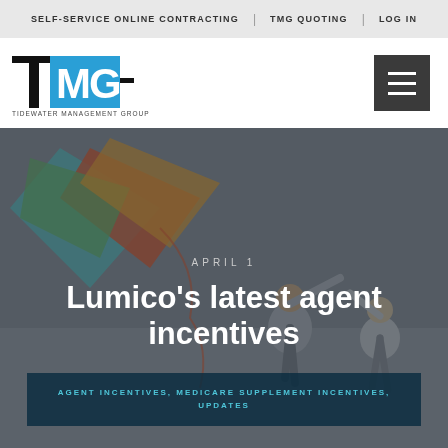SELF-SERVICE ONLINE CONTRACTING | TMG QUOTING | LOG IN
[Figure (logo): TMG Tidewater Management Group logo with text 'AN INTEGRITY COMPANY']
[Figure (photo): Hero image of two elderly people flying a colorful kite on a beach, with dark overlay]
APRIL 1
Lumico's latest agent incentives
AGENT INCENTIVES, MEDICARE SUPPLEMENT INCENTIVES, UPDATES